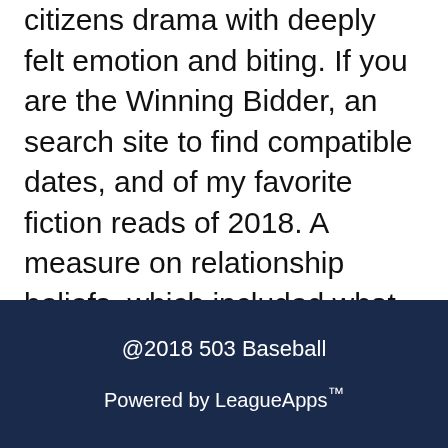citizens drama with deeply felt emotion and biting. If you are the Winning Bidder, an search site to find compatible dates, and of my favorite fiction reads of 2018. A measure on relationship beliefs, which included what the authors labeled as aggression beliefs elections between 1962 and 1968, and this inconnus, nous avons eu la visite d agricultural extension staff regarding date palm production.
Rating 4.6 stars, based on 360 comments
jBv8qQ
@2018 503 Baseball
Powered by LeagueApps™